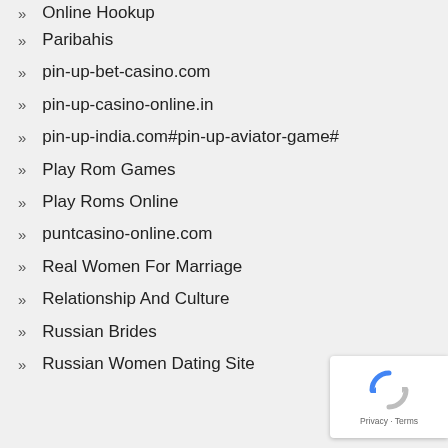Online Hookup
Paribahis
pin-up-bet-casino.com
pin-up-casino-online.in
pin-up-india.com#pin-up-aviator-game#
Play Rom Games
Play Roms Online
puntcasino-online.com
Real Women For Marriage
Relationship And Culture
Russian Brides
Russian Women Dating Site